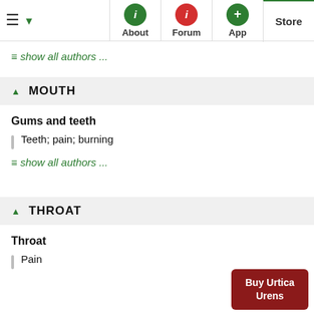English ▼ | About | Forum | App | Store
≡ show all authors ...
▲ MOUTH
Gums and teeth
Teeth; pain; burning
≡ show all authors ...
▲ THROAT
Throat
Pain